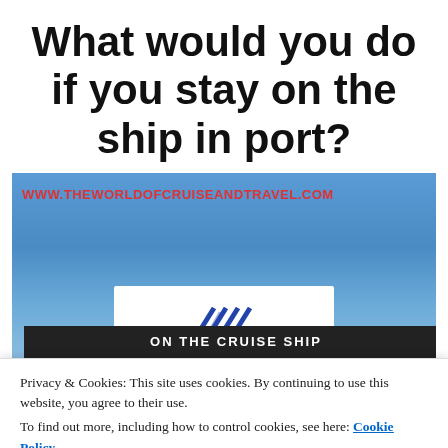What would you do if you stay on the ship in port?
[Figure (screenshot): Screenshot of www.theworldofcruiseandtravel.com website showing blue sky background with website URL in red text and a white panel with a cruise line logo at the bottom]
Privacy & Cookies: This site uses cookies. By continuing to use this website, you agree to their use.
To find out more, including how to control cookies, see here: Cookie Policy
Close and accept